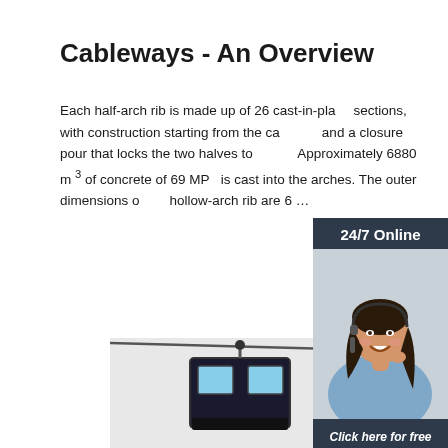Cableways - An Overview
Each half-arch rib is made up of 26 cast-in-place sections, with construction starting from the ca... and a closure pour that locks the two halves to... Approximately 6880 m 3 of concrete of 69 MP... is cast into the arches. The outer dimensions of hollow-arch rib are 6 …
[Figure (other): Orange 'Get Price' button]
[Figure (photo): Sidebar with '24/7 Online' header, photo of a woman with headset smiling, 'Click here for free chat!' text, and orange 'QUOTATION' button on dark navy background]
[Figure (photo): Bottom image showing a cable car gondola and cable infrastructure]